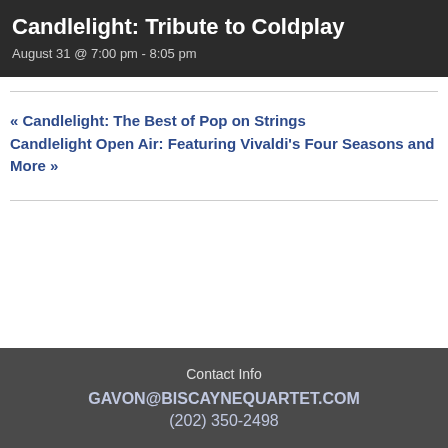Candlelight: Tribute to Coldplay
August 31 @ 7:00 pm - 8:05 pm
« Candlelight: The Best of Pop on Strings
Candlelight Open Air: Featuring Vivaldi's Four Seasons and More »
Contact Info
GAVON@BISCAYNEQUARTET.COM
(202) 350-2498